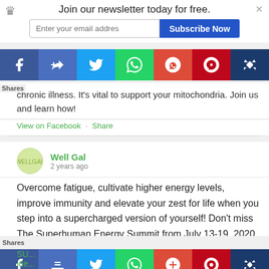Join our newsletter today for free.
[Figure (screenshot): Social share bar with Facebook, Facebook Like, Twitter, WhatsApp, Google+, Pinterest, and crown icons]
chronic illness. It's vital to support your mitochondria. Join us and learn how!
View on Facebook · Share
Well Gal
2 years ago
Overcome fatigue, cultivate higher energy levels, improve immunity and elevate your zest for life when you step into a supercharged version of yourself! Don't miss The Superhuman Energy Summit from July 13-19, 2020, free and online! 41 expert talks sharing the science and secrets of unlocking
[Figure (screenshot): Social share bar with Facebook, Facebook Like, Twitter, WhatsApp, Google+, Pinterest, and crown icons]